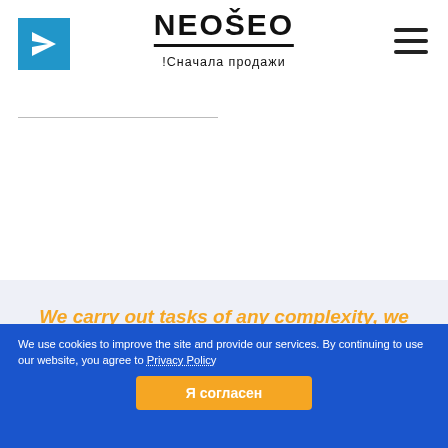NEOŠEO !Сначала продажи
We carry out tasks of any complexity, we always bring the business to the end.
We use cookies to improve the site and provide our services. By continuing to use our website, you agree to Privacy Policy
Я согласен